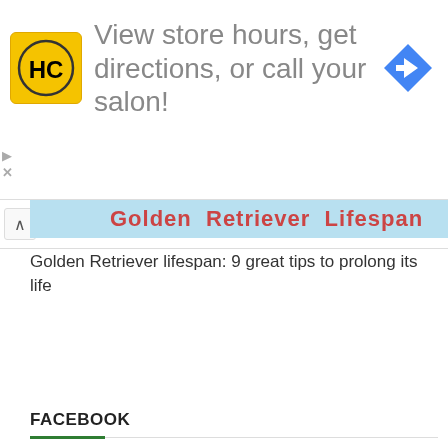[Figure (screenshot): Advertisement banner for a salon/hair care business (HC logo) with text 'View store hours, get directions, or call your salon!' and a blue navigation arrow icon on the right.]
Golden Retriever lifespan: 9 great tips to prolong its life
FACEBOOK